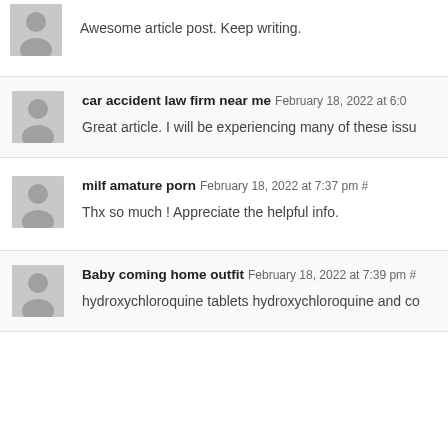[Figure (illustration): Grey avatar placeholder image (person silhouette)]
Awesome article post. Keep writing.
[Figure (illustration): Grey avatar placeholder image (person silhouette)]
car accident law firm near me February 18, 2022 at 6:0
Great article. I will be experiencing many of these issu
[Figure (illustration): Grey avatar placeholder image (person silhouette)]
milf amature porn February 18, 2022 at 7:37 pm #
Thx so much ! Appreciate the helpful info.
[Figure (illustration): Grey avatar placeholder image (person silhouette)]
Baby coming home outfit February 18, 2022 at 7:39 pm
hydroxychloroquine tablets hydroxychloroquine and co